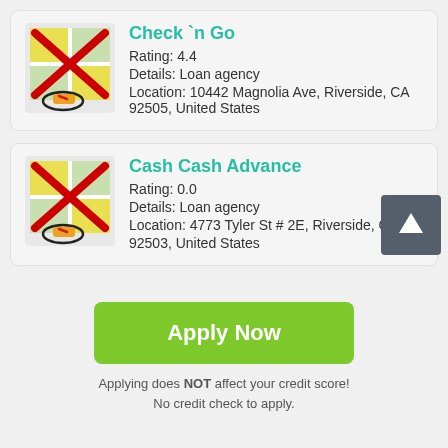[Figure (screenshot): Map pin icon with red X overlay and pencil/location marker, for Check n Go listing]
Check `n Go
Rating: 4.4
Details: Loan agency
Location: 10442 Magnolia Ave, Riverside, CA 92505, United States
[Figure (screenshot): Map pin icon with red X overlay and pencil/location marker, for Cash Cash Advance listing]
Cash Cash Advance
Rating: 0.0
Details: Loan agency
Location: 4773 Tyler St # 2E, Riverside, CA 92503, United States
Apply Now
Applying does NOT affect your credit score!
No credit check to apply.